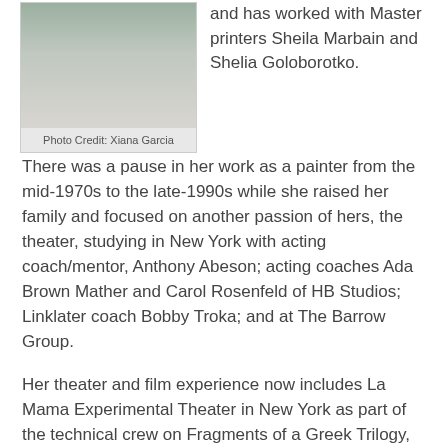[Figure (photo): Photograph of a person in a white top, partially cropped, with colorful background]
Photo Credit: Xiana Garcia
and has worked with Master printers Sheila Marbain and Shelia Goloborotko.
There was a pause in her work as a painter from the mid-1970s to the late-1990s while she raised her family and focused on another passion of hers, the theater, studying in New York with acting coach/mentor, Anthony Abeson; acting coaches Ada Brown Mather and Carol Rosenfeld of HB Studios; Linklater coach Bobby Troka; and at The Barrow Group.
Her theater and film experience now includes La Mama Experimental Theater in New York as part of the technical crew on Fragments of a Greek Trilogy, directed by Andrei Serban (toured in Italy); an